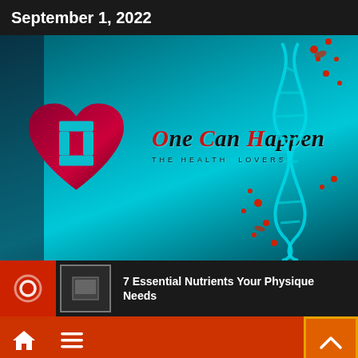September 1, 2022
[Figure (logo): One Can Happen - The Healthy Lovers website banner. Features a crimson heart with teal medical cross logo on left, stylized italic site name text in center, and a 3D DNA double helix with red particles on right, all on a teal/dark background.]
7 Essential Nutrients Your Physique Needs
Home / Chicago Real Estate Search Listings